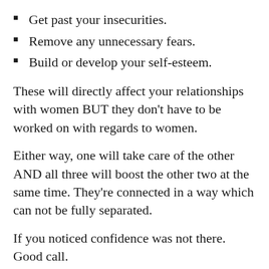Get past your insecurities.
Remove any unnecessary fears.
Build or develop your self-esteem.
These will directly affect your relationships with women BUT they don't have to be worked on with regards to women.
Either way, one will take care of the other AND all three will boost the other two at the same time. They're connected in a way which can not be fully separated.
If you noticed confidence was not there. Good call.